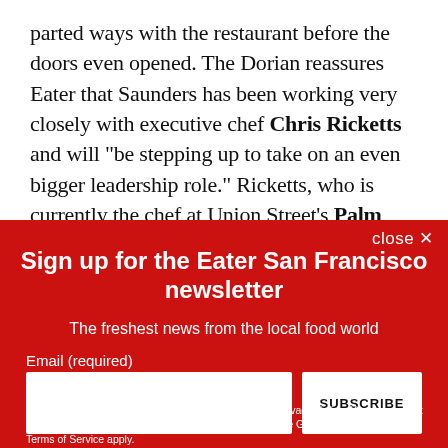parted ways with the restaurant before the doors even opened. The Dorian reassures Eater that Saunders has been working very closely with executive chef Chris Ricketts and will “be stepping up to take on an even bigger leadership role.” Ricketts, who is currently the chef at Union Street’s Palm House, was very influential in the concept development of The Dorian’s menu and was overseeing
Sign up for the Eater San Francisco newsletter
The freshest news from the local food world
Email (required)
SUBSCRIBE
By submitting your email, you agree to our Terms and Privacy Notice. You can opt out at any time. This site is protected by reCAPTCHA and the Google Privacy Policy and Terms of Service apply.